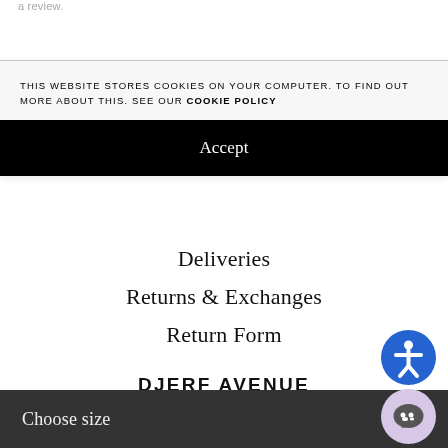a review.
THIS WEBSITE STORES COOKIES ON YOUR COMPUTER. TO FIND OUT MORE ABOUT THIS. SEE OUR COOKIE POLICY
Accept
Deliveries
Returns & Exchanges
Return Form
DJERF AVENUE
About Us
Choose size